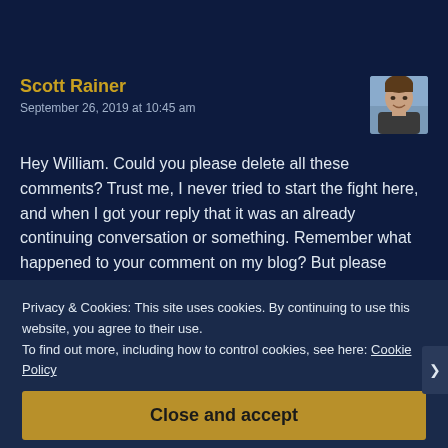Scott Rainer
September 26, 2019 at 10:45 am
Hey William. Could you please delete all these comments? Trust me, I never tried to start the fight here, and when I got your reply that it was an already continuing conversation or something. Remember what happened to your comment on my blog? But please delete all this. When I have to criticize a person, or take my revenge through words, I look at the deep
Privacy & Cookies: This site uses cookies. By continuing to use this website, you agree to their use.
To find out more, including how to control cookies, see here: Cookie Policy
Close and accept